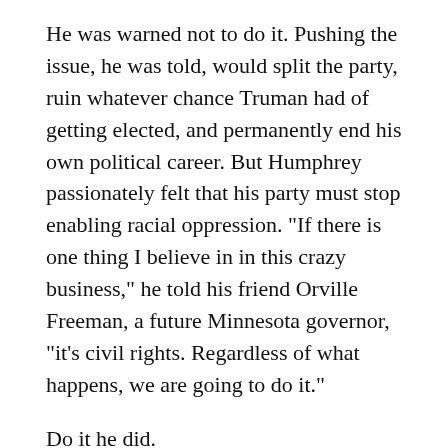He was warned not to do it. Pushing the issue, he was told, would split the party, ruin whatever chance Truman had of getting elected, and permanently end his own political career. But Humphrey passionately felt that his party must stop enabling racial oppression. "If there is one thing I believe in in this crazy business," he told his friend Orville Freeman, a future Minnesota governor, "it's civil rights. Regardless of what happens, we are going to do it."
Do it he did.
Taking the podium in the sweltering hall — there was no air conditioning, and the temperature was 93 degrees — Humphrey made